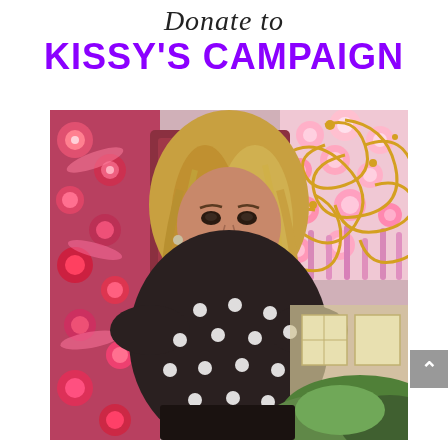Donate to KISSY'S CAMPAIGN
[Figure (photo): A woman with long blonde wavy hair wearing a dark polka dot off-shoulder dress, standing in front of a floral wall decoration with pink and red flowers, and gold decorative swirl ornaments in the background. There is greenery visible in the lower right.]